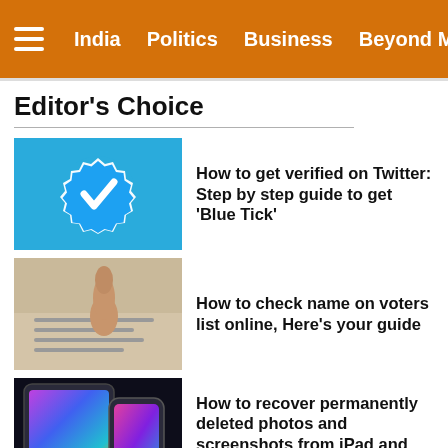India | Politics | Business | Beyond Metros
Editor's Choice
How to get verified on Twitter: Step by step guide to get 'Blue Tick'
How to check name on voters list online, Here's your guide
How to recover permanently deleted photos and screenshots from iPad and iPhone
How to use two WhatsApp accounts